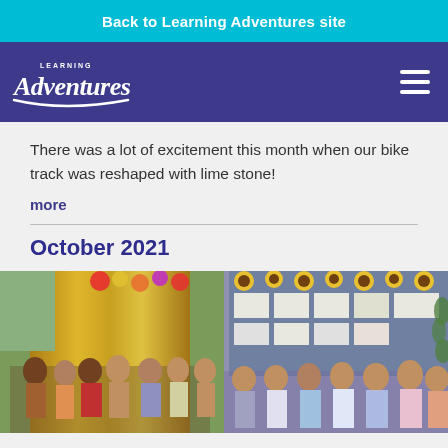Back to Learning Adventures site
[Figure (logo): Learning Adventures logo in white text on dark blue navigation bar with hamburger menu icon]
There was a lot of excitement this month when our bike track was reshaped with lime stone!
more
October 2021
[Figure (photo): Two photos side by side of children in costumes in a decorated classroom with gold drapes, balloons, sunflowers and a bulletin board.]